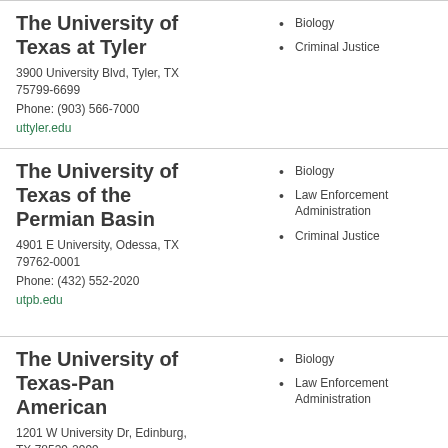The University of Texas at Tyler
3900 University Blvd, Tyler, TX 75799-6699
Phone: (903) 566-7000
uttyler.edu
Biology
Criminal Justice
The University of Texas of the Permian Basin
4901 E University, Odessa, TX 79762-0001
Phone: (432) 552-2020
utpb.edu
Biology
Law Enforcement Administration
Criminal Justice
The University of Texas-Pan American
1201 W University Dr, Edinburg, TX 78539-2999
Biology
Law Enforcement Administration